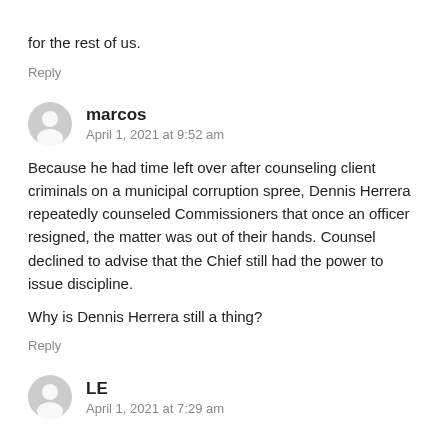for the rest of us.
Reply
marcos
April 1, 2021 at 9:52 am

Because he had time left over after counseling client criminals on a municipal corruption spree, Dennis Herrera repeatedly counseled Commissioners that once an officer resigned, the matter was out of their hands. Counsel declined to advise that the Chief still had the power to issue discipline.

Why is Dennis Herrera still a thing?
Reply
LE
April 1, 2021 at 7:29 am